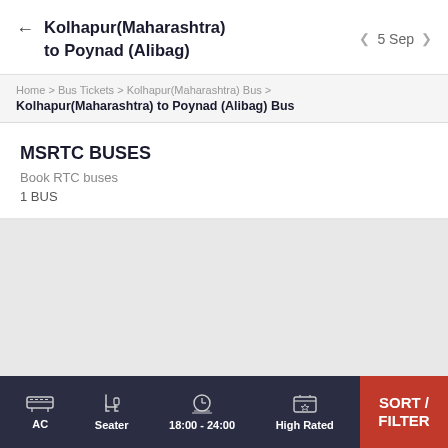Kolhapur(Maharashtra) to Poynad (Alibag)  5 Sep
Home > Bus Tickets > Kolhapur(Maharashtra) Bus > Kolhapur(Maharashtra) to Poynad (Alibag) Bus
MSRTC BUSES
Book RTC buses
1 BUS
AC  Seater  18:00 - 24:00  High Rated  SORT / FILTER